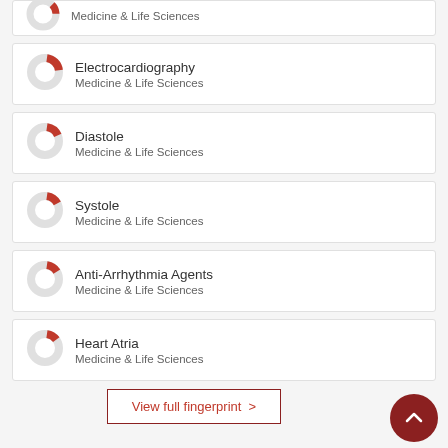Medicine & Life Sciences
Electrocardiography — Medicine & Life Sciences
Diastole — Medicine & Life Sciences
Systole — Medicine & Life Sciences
Anti-Arrhythmia Agents — Medicine & Life Sciences
Heart Atria — Medicine & Life Sciences
View full fingerprint >